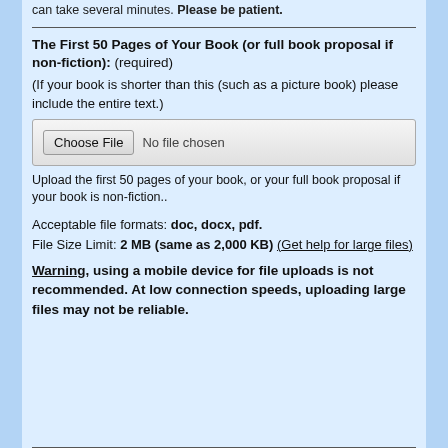can take several minutes. Please be patient.
The First 50 Pages of Your Book (or full book proposal if non-fiction): (required)
(If your book is shorter than this (such as a picture book) please include the entire text.)
[Figure (screenshot): File upload input box with Choose File button and 'No file chosen' text]
Upload the first 50 pages of your book, or your full book proposal if your book is non-fiction..
Acceptable file formats: doc, docx, pdf.
File Size Limit: 2 MB (same as 2,000 KB) (Get help for large files)
Warning, using a mobile device for file uploads is not recommended. At low connection speeds, uploading large files may not be reliable.